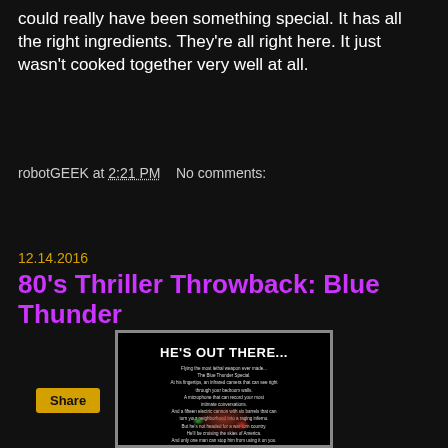could really have been something special. It has all the right ingredients. They're all right here. It just wasn't cooked together very well at all.
robotGEEK at 2:21 PM    No comments:
Share
12.14.2016
80's Thriller Throwback: Blue Thunder
[Figure (photo): Movie poster for Blue Thunder showing text 'HE'S OUT THERE...' with descriptive taglines, and a dark background with helicopter silhouette and glowing lights at bottom]